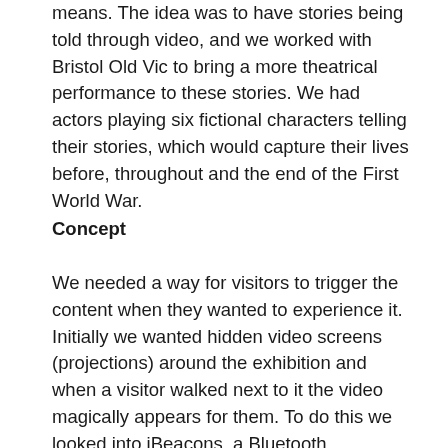means. The idea was to have stories being told through video, and we worked with Bristol Old Vic to bring a more theatrical performance to these stories. We had actors playing six fictional characters telling their stories, which would capture their lives before, throughout and the end of the First World War.
Concept
We needed a way for visitors to trigger the content when they wanted to experience it. Initially we wanted hidden video screens (projections) around the exhibition and when a visitor walked next to it the video magically appears for them. To do this we looked into iBeacons, a Bluetooth technology which can be used to trigger an activity from a specified distance to the user, for example playing a sound when someone gets within two metres of a loudspeaker. Our concept was when someone gets to within a metre of a screen the content appears and when they leave that area